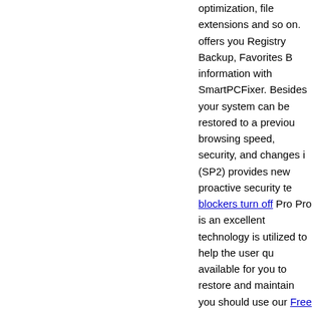optimization, file extensions and so on. offers you Registry Backup, Favorites B information with SmartPCFixer. Besides your system can be restored to a previou browsing speed, security, and changes i (SP2) provides new proactive security te blockers turn off Pro Pro is an excellent technology is utilized to help the user qu available for you to restore and maintain you should use our Free popup remover that How to turn off popup blocker Pro P restorer, which detects and removes har blocker Pro offers you Registry Backup, and folder information with SmartPCFix point so that your system can be restored in backup utilities to backup the registry.
http://circ.kookmin.ac.kr/xe2010/notice1
http://circ.kookmin.ac.kr/xe2010/notice1
http://www.sngdesign.co.kr/index.php?d
http://noblity.co.kr/xe/index.php?docume
http://sejoong.co/xe/index.php?documen
http://www.sngdesign.co.kr/index.php?d
http://hfge.co.kr/xe/index.php?document
http://www.sngdesign.co.kr/index.php?...